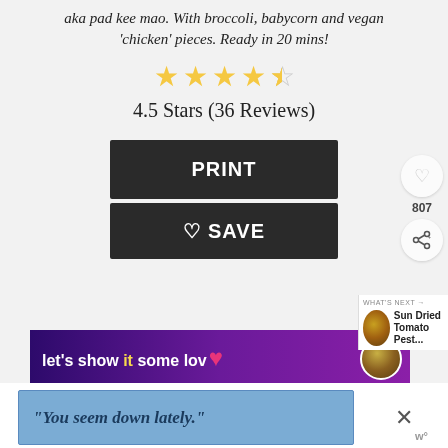aka pad kee mao. With broccoli, babycorn and vegan 'chicken' pieces. Ready in 20 mins!
[Figure (other): 4.5 out of 5 stars rating display with 4 full gold stars and 1 half gold/grey star]
4.5 Stars (36 Reviews)
[Figure (other): Dark PRINT button]
[Figure (other): Dark SAVE button with heart outline icon]
[Figure (other): Purple banner reading: let's show it some lov... with pink heart graphic]
[Figure (other): What's Next panel showing Sun Dried Tomato Pest... with circular food thumbnail]
[Figure (other): Side panel with heart icon, 807 count, and share icon]
[Figure (other): Bottom advertisement banner with blue background reading: You seem down lately.]
[Figure (other): Close X button and W logo at bottom right]